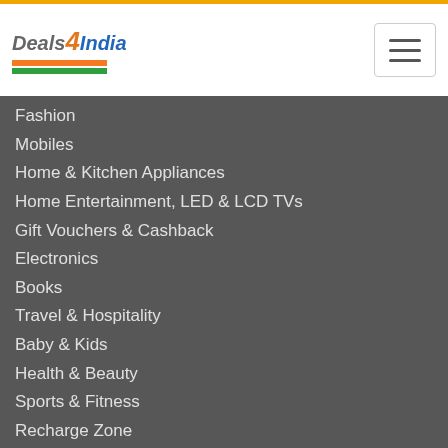[Figure (logo): Deals4India logo with orange and green flag bars]
Fashion
Mobiles
Home & Kitchen Appliances
Home Entertainment, LED & LCD TVs
Gift Vouchers & Cashback
Electronics
Books
Travel & Hospitality
Baby & Kids
Health & Beauty
Sports & Fitness
Recharge Zone
Disclosures
Cuelinks
VCommission
Follow us